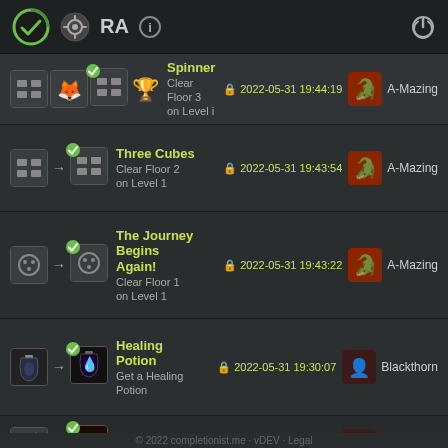Completionist.me - Achievement tracker header with icons: completionist logo, Steam icon, RA text, info button, power button
Spinner | Clear Floor 3 on Level i | 2022-05-31 19:44:19 | A-Mazing
Three Cubes | Clear Floor 2 on Level 1 | 2022-05-31 19:43:54 | A-Mazing
The Journey Begins Again! | Clear Floor 1 on Level 1 | 2022-05-31 19:43:22 | A-Mazing
Healing Potion | Get a Healing Potion | 2022-05-31 19:30:07 | Blackthorn
Bomb | Get a Bomb | 2022-05-31 19:28:28 | Blackthorn
© 2022 completionist.me · vDEV · Legal